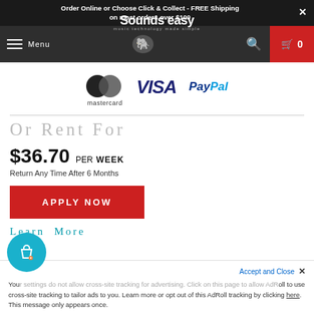Order Online or Choose Click & Collect - FREE Shipping on most orders over $100
[Figure (screenshot): Sounds Easy navigation bar with hamburger menu, logo, search icon, and cart button showing 0 items]
[Figure (logo): Payment method logos: Mastercard, VISA, PayPal]
Or Rent For
$36.70 PER WEEK
Return Any Time After 6 Months
APPLY NOW
Learn More
Your settings do not allow cross-site tracking for advertising. Click on this page to allow AdRoll to use cross-site tracking to tailor ads to you. Learn more or opt out of this AdRoll tracking by clicking here. This message only appears once.